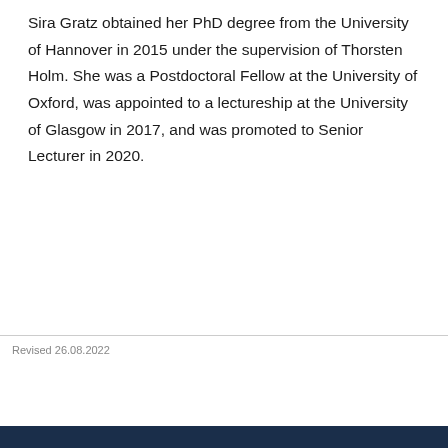Sira Gratz obtained her PhD degree from the University of Hannover in 2015 under the supervision of Thorsten Holm. She was a Postdoctoral Fellow at the University of Oxford, was appointed to a lectureship at the University of Glasgow in 2017, and was promoted to Senior Lecturer in 2020.
Revised 26.08.2022